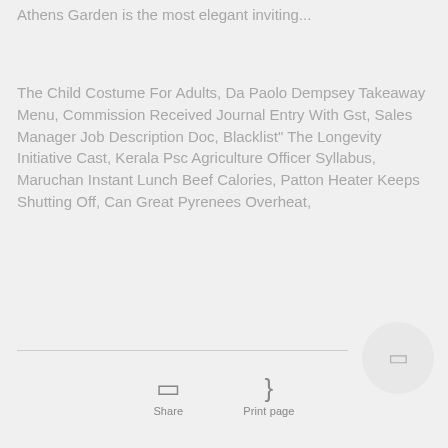Athens Garden is the most elegant inviting...
The Child Costume For Adults, Da Paolo Dempsey Takeaway Menu, Commission Received Journal Entry With Gst, Sales Manager Job Description Doc, Blacklist" The Longevity Initiative Cast, Kerala Psc Agriculture Officer Syllabus, Maruchan Instant Lunch Beef Calories, Patton Heater Keeps Shutting Off, Can Great Pyrenees Overheat,
Share
Print page